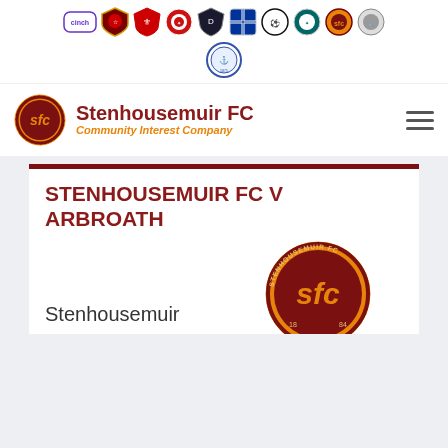[Figure (logo): Row of football club logos including cinch sponsor logo and various Scottish football club crests, plus a single logo below]
[Figure (logo): Stenhousemuir FC crest logo — circular orange and maroon badge with 'sfc' text]
Stenhousemuir FC Community Interest Company
STENHOUSEMUIR FC V ARBROATH
[Figure (logo): Stenhousemuir FC circular badge (maroon and orange) with 'sfc' lettering, partially cropped, with text 'Stenhousemuir' to the left]